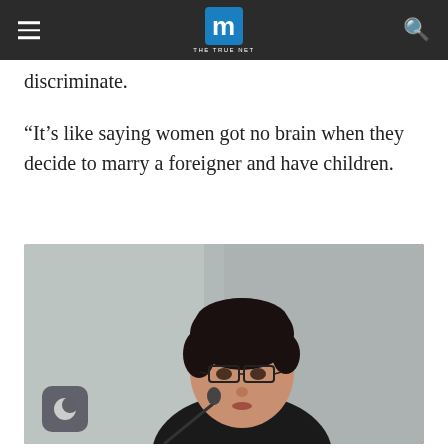THE TRUE NET
discriminate.
“It’s like saying women got no brain when they decide to marry a foreigner and have children.
[Figure (photo): A woman with short dark hair and glasses speaking at a microphone podium, wearing a black outfit. Photo taken at a formal event with blurred background.]